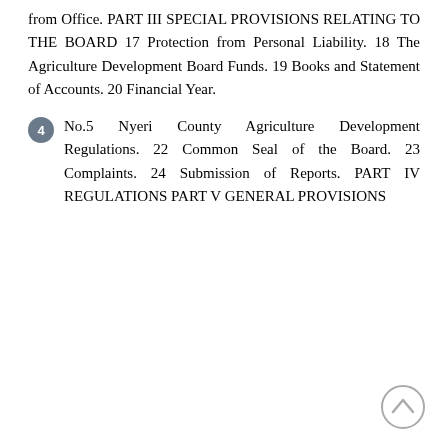from Office. PART III SPECIAL PROVISIONS RELATING TO THE BOARD 17 Protection from Personal Liability. 18 The Agriculture Development Board Funds. 19 Books and Statement of Accounts. 20 Financial Year.
4   No.5 Nyeri County Agriculture Development Regulations. 22 Common Seal of the Board. 23 Complaints. 24 Submission of Reports. PART IV REGULATIONS PART V GENERAL PROVISIONS